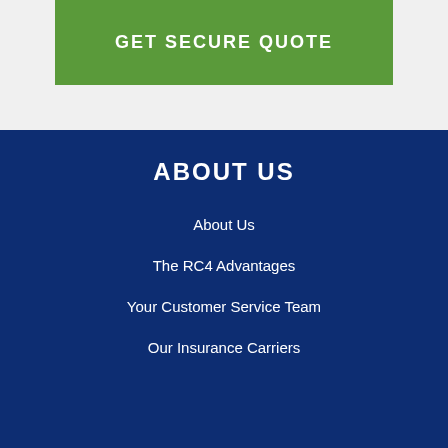[Figure (other): Green GET SECURE QUOTE button on light gray background]
ABOUT US
About Us
The RC4 Advantages
Your Customer Service Team
Our Insurance Carriers